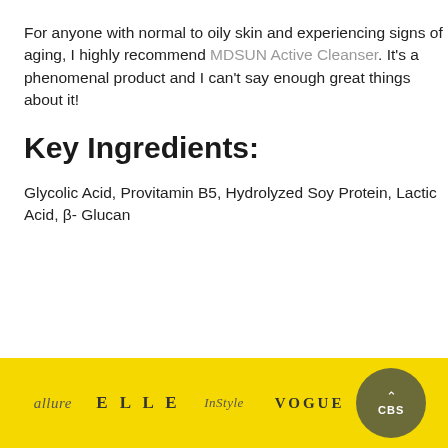For anyone with normal to oily skin and experiencing signs of aging, I highly recommend MDSUN Active Cleanser. It's a phenomenal product and I can't say enough great things about it!
Key Ingredients:
Glycolic Acid, Provitamin B5, Hydrolyzed Soy Protein, Lactic Acid, β- Glucan
[Figure (other): Yellow footer bar with magazine logos: allure, ELLE, InStyle, VOGUE, and CBS circular logo with chevron icon]